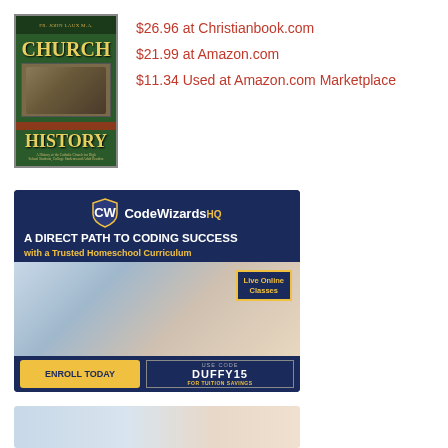[Figure (illustration): Book cover: Church History by Fr. John Laux M.A., dark green cover with gold text]
$26.96 at Christianbook.com
$21.99 at Amazon.com
$11.34 Used at Amazon.com Marketplace
[Figure (illustration): CodeWizardsHQ advertisement banner: A DIRECT PATH TO CODING SUCCESS with a Trusted Homeschool Curriculum. Live Online Classes. ENROLL TODAY. USE CODE DUFFY15 FOR TUITION SAVINGS.]
[Figure (photo): Partially visible advertisement at bottom of page]